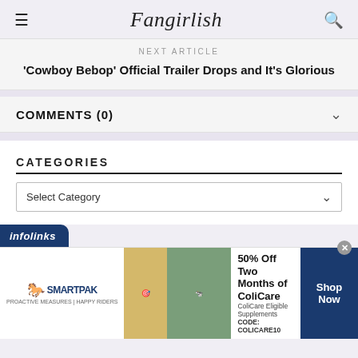Fangirlish
NEXT ARTICLE
'Cowboy Bebop' Official Trailer Drops and It's Glorious
COMMENTS (0)
CATEGORIES
Select Category
[Figure (infographic): infolinks advertisement banner for SmartPak: 50% Off Two Months of ColiCare, ColiCare Eligible Supplements, CODE: COLICARE10, Shop Now button]